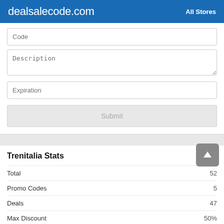dealsalecode.com  All Stores
Code
Description
Expiration
Submit
Trenitalia Stats
|  |  |
| --- | --- |
| Total | 52 |
| Promo Codes | 5 |
| Deals | 47 |
| Max Discount | 50% |
| Last Updated | August 2022 |
Trenitalia Top Coupon Codes and Offers
Flash Sale! Get Latest Up To 50% Off Coupon